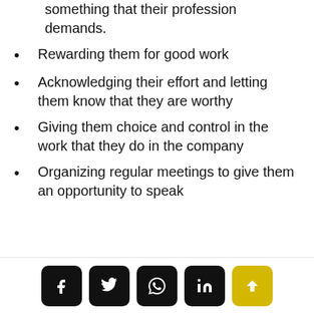something that their profession demands.
Rewarding them for good work
Acknowledging their effort and letting them know that they are worthy
Giving them choice and control in the work that they do in the company
Organizing regular meetings to give them an opportunity to speak about things that they…
Social share buttons: Facebook, Twitter, WhatsApp, LinkedIn, Scroll to top